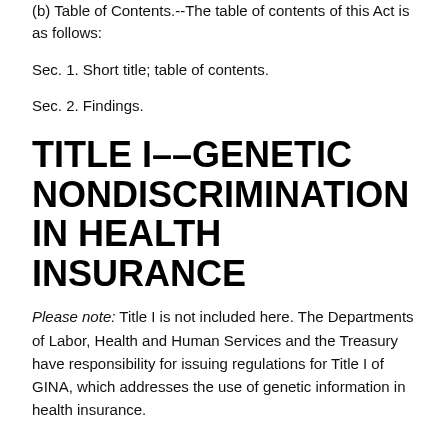(b) Table of Contents.--The table of contents of this Act is as follows:
Sec. 1. Short title; table of contents.
Sec. 2. Findings.
TITLE I--GENETIC NONDISCRIMINATION IN HEALTH INSURANCE
Please note: Title I is not included here. The Departments of Labor, Health and Human Services and the Treasury have responsibility for issuing regulations for Title I of GINA, which addresses the use of genetic information in health insurance.